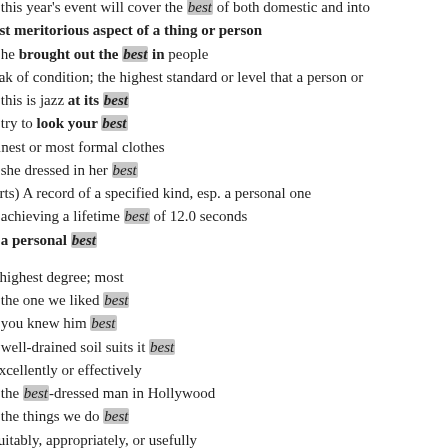- this year's event will cover the best of both domestic and international
most meritorious aspect of a thing or person
- he brought out the best in people
peak of condition; the highest standard or level that a person or thing
- this is jazz at its best
- try to look your best
finest or most formal clothes
- she dressed in her best
(sports) A record of a specified kind, esp. a personal one
- achieving a lifetime best of 12.0 seconds
- a personal best
· highest degree; most
- the one we liked best
- you knew him best
- well-drained soil suits it best
excellently or effectively
- the best-dressed man in Hollywood
- the things we do best
suitably, appropriately, or usefully
- this is best done at home